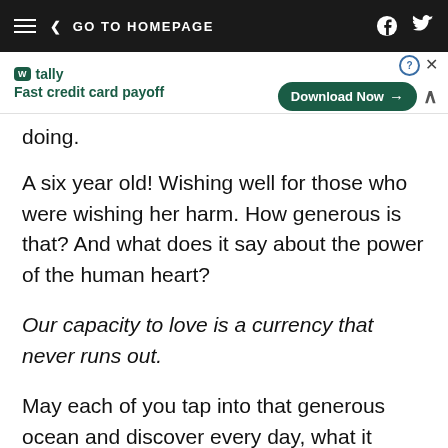< GO TO HOMEPAGE
[Figure (screenshot): Tally advertisement banner: 'Fast credit card payoff' with a green 'Download Now' button and close controls]
doing.
A six year old! Wishing well for those who were wishing her harm. How generous is that? And what does it say about the power of the human heart?
Our capacity to love is a currency that never runs out.
May each of you tap into that generous ocean and discover every day, what it means to give.